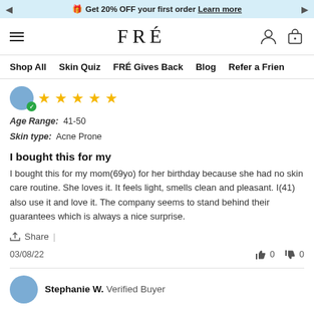🎁 Get 20% OFF your first order Learn more
[Figure (logo): FRÉ brand logo with hamburger menu and navigation icons]
Shop All  Skin Quiz  FRÉ Gives Back  Blog  Refer a Friend
[Figure (other): User avatar with verified checkmark and 5 star rating]
Age Range: 41-50
Skin type: Acne Prone
I bought this for my
I bought this for my mom(69yo) for her birthday because she had no skin care routine. She loves it. It feels light, smells clean and pleasant. I(41) also use it and love it. The company seems to stand behind their guarantees which is always a nice surprise.
Share |
03/08/22   👍 0   👎 0
Stephanie W. Verified Buyer